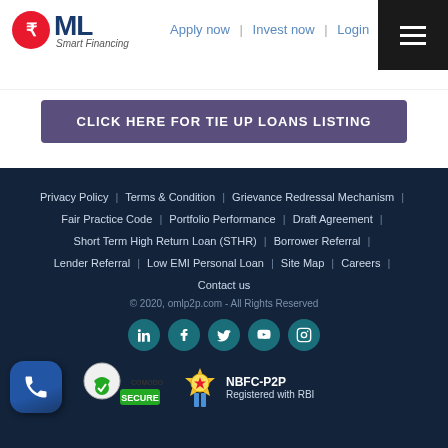[Figure (logo): RML Smart Financing logo with red rupee symbol circle and dark blue ML text]
Apply now  |  Invest now  |  Login
[Figure (other): Dark hamburger menu icon button]
CLICK HERE FOR TIE UP LOANS LISTING
Privacy Policy | Terms & Condition | Grievance Redressal Mechanism | Fair Practice Code | Portfolio Performance | Draft Agreement | Short Term High Return Loan (STHR) | Borrower Referral | Lender Referral | Low EMI Personal Loan | Site Map | Careers | Contact us
© 2020, omlp2p.com - All Rights Reserved
[Figure (other): Social media icons: LinkedIn, Facebook, Twitter, YouTube, Instagram]
[Figure (other): Phone badge icon, Comodo Secure badge, NBFC-P2P Registered with RBI badge]